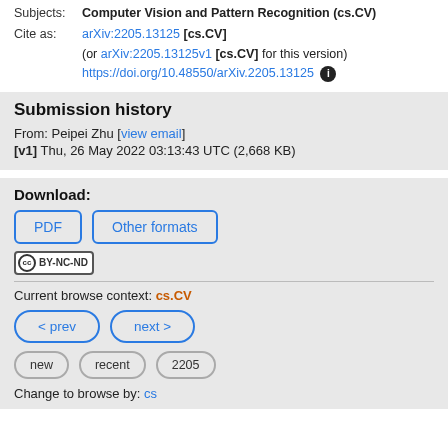Subjects: Computer Vision and Pattern Recognition (cs.CV)
Cite as: arXiv:2205.13125 [cs.CV] (or arXiv:2205.13125v1 [cs.CV] for this version) https://doi.org/10.48550/arXiv.2205.13125
Submission history
From: Peipei Zhu [view email]
[v1] Thu, 26 May 2022 03:13:43 UTC (2,668 KB)
Download:
PDF  Other formats
Current browse context: cs.CV
< prev  next >
new  recent  2205
Change to browse by: cs